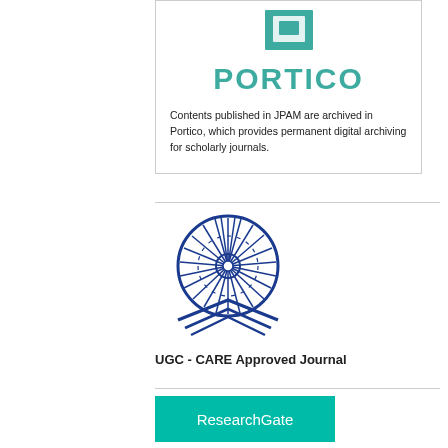[Figure (logo): Portico logo with teal square icon and PORTICO text]
Contents published in JPAM are archived in Portico, which provides permanent digital archiving for scholarly journals.
[Figure (logo): UGC logo - Ashoka Chakra wheel with open book and Hindi text: ज्ञान-विज्ञान विमुक्तये]
UGC - CARE Approved Journal
[Figure (logo): ResearchGate button with teal background and white text]